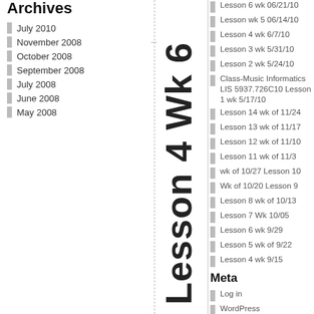Archives
July 2010
November 2008
October 2008
September 2008
July 2008
June 2008
May 2008
[Figure (other): Vertical large text reading 'Lesson 4 Wk 6' rotated 90 degrees with dashed vertical lines]
Lesson 6 wk 06/21/10
Lesson wk 5 06/14/10
Lesson 4 wk 6/7/10
Lesson 3 wk 5/31/10
Lesson 2 wk 5/24/10
Class-Music Informatics LIS 5937.726C10 Lesson 1 wk 5/17/10
Lesson 14 wk of 11/24
Lesson 13 wk of 11/17
Lesson 12 wk of 11/10
Lesson 11 wk of 11/3
wk of 10/27 Lesson 10
Wk of 10/20 Lesson 9
Lesson 8 wk of 10/13
Lesson 7 Wk 10/05
Lesson 6 wk 9/29
Lesson 5 wk of 9/22
Lesson 4 wk 9/15
Meta
Log in
WordPress